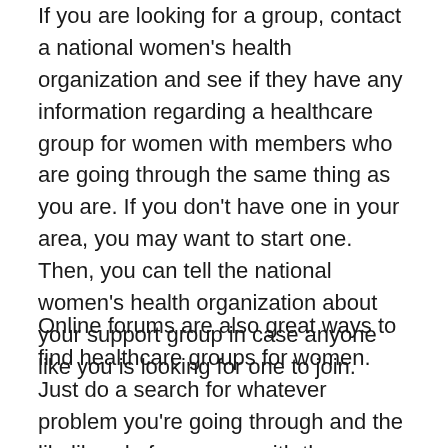If you are looking for a group, contact a national women's health organization and see if they have any information regarding a healthcare group for women with members who are going through the same thing as you are. If you don't have one in your area, you may want to start one. Then, you can tell the national women's health organization about your support group in case anyone like you is looking for one to join.
Online forums are also great ways to find healthcare groups for women. Just do a search for whatever problem you're going through and the likelihood of someone with the